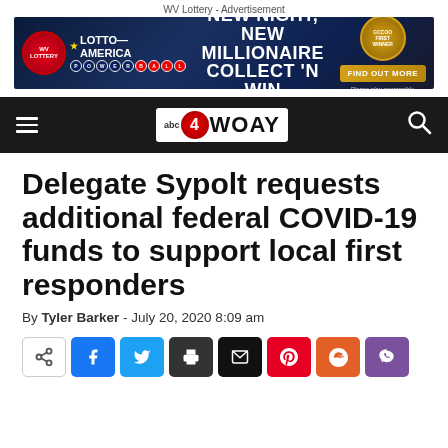WV Lottery - Advertisement
[Figure (illustration): WV Lottery advertisement banner: Lotto America, Powerball, NEW NIGHT, NEW MILLIONAIRE, COLLECT 'N WIN, FIND OUT MORE, Please play responsibly.]
[Figure (logo): abc4 WOAY navigation bar with hamburger menu and search icon]
Delegate Sypolt requests additional federal COVID-19 funds to support local first responders
By Tyler Barker - July 20, 2020 8:09 am
[Figure (infographic): Social share buttons: native share, Facebook, Twitter, Print, Email, Pinterest, Reddit, Viber]